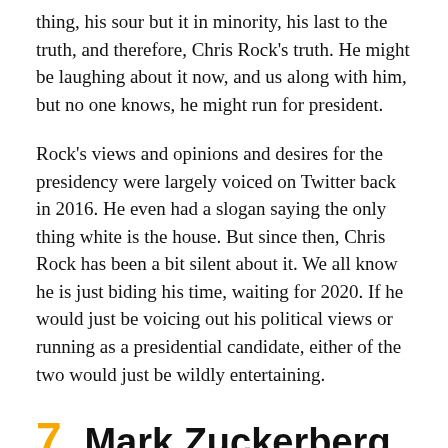thing, his sour but it in minority, his last to the truth, and therefore, Chris Rock's truth. He might be laughing about it now, and us along with him, but no one knows, he might run for president.
Rock's views and opinions and desires for the presidency were largely voiced on Twitter back in 2016. He even had a slogan saying the only thing white is the house. But since then, Chris Rock has been a bit silent about it. We all know he is just biding his time, waiting for 2020. If he would just be voicing out his political views or running as a presidential candidate, either of the two would just be wildly entertaining.
7. Mark Zuckerberg
What Mark Zuckerberg has done, more than anyone